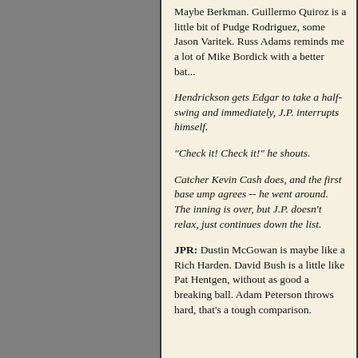Maybe Berkman. Guillermo Quiroz is a little bit of Pudge Rodriguez, some Jason Varitek. Russ Adams reminds me a lot of Mike Bordick with a better bat...
Hendrickson gets Edgar to take a half-swing and immediately, J.P. interrupts himself.
"Check it! Check it!" he shouts.
Catcher Kevin Cash does, and the first base ump agrees -- he went around. The inning is over, but J.P. doesn't relax, just continues down the list.
JPR: Dustin McGowan is maybe like a Rich Harden. David Bush is a little like Pat Hentgen, without as good a breaking ball. Adam Peterson throws hard, that's a tough comparison.